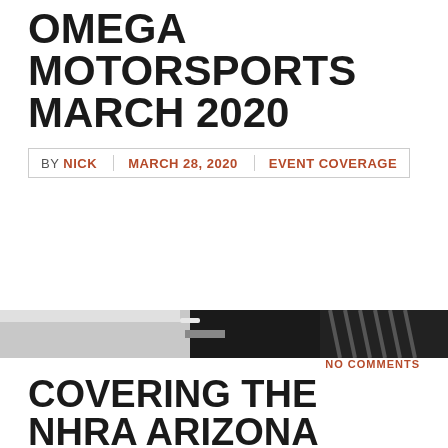OMEGA MOTORSPORTS MARCH 2020
BY NICK  MARCH 28, 2020  EVENT COVERAGE
[Figure (photo): Partial view of a motorsports racing car or event photo strip]
NO COMMENTS
COVERING THE NHRA ARIZONA NATIONALS AS IF WE WERE SOME